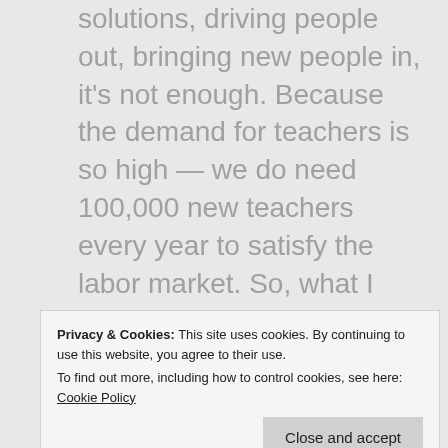solutions, driving people out, bringing new people in, it's not enough. Because the demand for teachers is so high — we do need 100,000 new teachers every year to satisfy the labor market. So, what I suggest is, instead of starting with our fear of bad teaching, we look at teachers who are excellent at what they do right here in the United States, and we ask about how to create systems where we can replicate their best practices.
Privacy & Cookies: This site uses cookies. By continuing to use this website, you agree to their use. To find out more, including how to control cookies, see here: Cookie Policy
becoming pretty common place (Bob Marzano and John